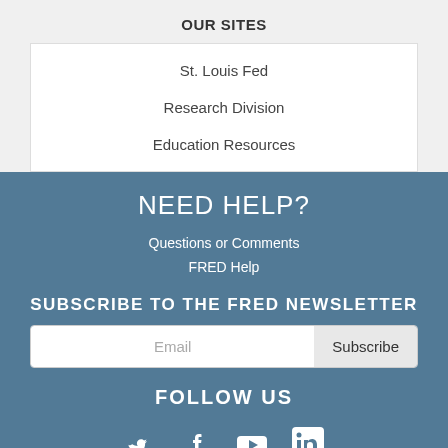OUR SITES
St. Louis Fed
Research Division
Education Resources
NEED HELP?
Questions or Comments
FRED Help
SUBSCRIBE TO THE FRED NEWSLETTER
FOLLOW US
[Figure (infographic): Social media icons: Twitter, Facebook, YouTube, LinkedIn]
Filter 1